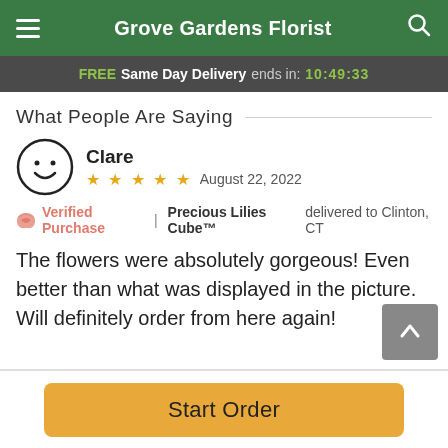Grove Gardens Florist
FREE Same Day Delivery ends in: 10:49:33
What People Are Saying
Clare
★★★★★  August 22, 2022
🌸 Verified Purchase  |  Precious Lilies Cube™ delivered to Clinton, CT
The flowers were absolutely gorgeous! Even better than what was displayed in the picture. Will definitely order from here again!
Start Order